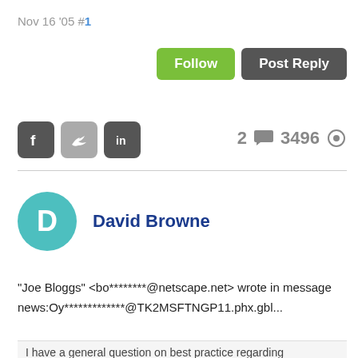Nov 16 '05 #1
Follow   Post Reply
[Figure (infographic): Social share icons: Facebook (dark grey), Twitter (grey), LinkedIn (dark grey), followed by stats: 2 comments icon, 3496 views icon]
David Browne
"Joe Bloggs" <bo********@netscape.net> wrote in message
news:Oy*************@TK2MSFTNGP11.phx.gbl...
I have a general question on best practice regarding